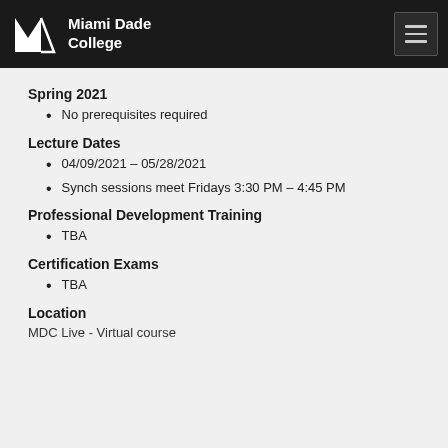Miami Dade College
Spring 2021
No prerequisites required
Lecture Dates
04/09/2021 – 05/28/2021
Synch sessions meet Fridays 3:30 PM – 4:45 PM
Professional Development Training
TBA
Certification Exams
TBA
Location
MDC Live - Virtual course